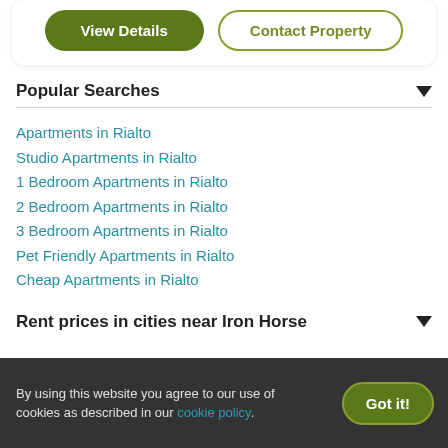[Figure (screenshot): Two buttons: 'View Details' (green filled) and 'Contact Property' (outlined), inside a white rounded card.]
Popular Searches
Apartments in Rialto
Studio Apartments in Rialto
1 Bedroom Apartments in Rialto
2 Bedroom Apartments in Rialto
3 Bedroom Apartments in Rialto
Pet Friendly Apartments in Rialto
Cheap Apartments in Rialto
Rent prices in cities near Iron Horse
By using this website you agree to our use of cookies as described in our cookie policy.